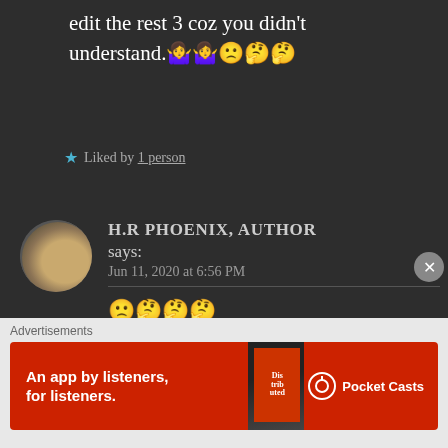edit the rest 3 coz you didn't understand. 🤷‍♀️🤷‍♀️🙁🤔🤔
★ Liked by 1 person
H.R PHOENIX, AUTHOR says:
Jun 11, 2020 at 6:56 PM
🙁🤔🤔🤔 Soooorrrrrrryyyyyyyyyyyyyyyyy I got so confused! Then I knew when you said month
Advertisements
[Figure (screenshot): Pocket Casts advertisement banner: red background with text 'An app by listeners, for listeners.' and Pocket Casts logo with phone image]